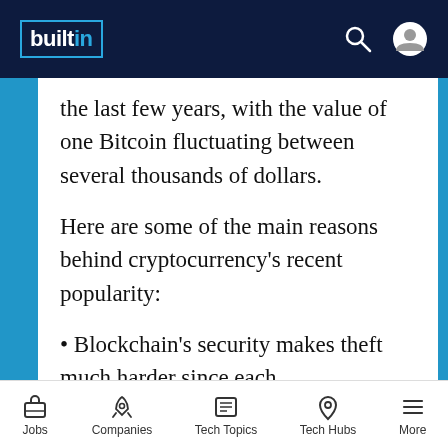builtin [logo]
the last few years, with the value of one Bitcoin fluctuating between several thousands of dollars.
Here are some of the main reasons behind cryptocurrency's recent popularity:
Blockchain's security makes theft much harder since each
Jobs  Companies  Tech Topics  Tech Hubs  More